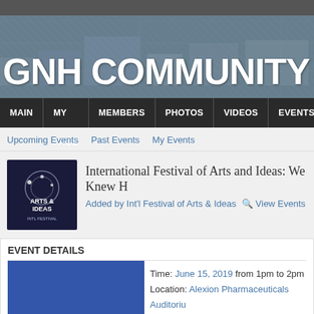GNH COMMUNITY
MAIN | MY PAGE | MEMBERS | PHOTOS | VIDEOS | EVENTS
Upcoming Events   Past Events   My Events
International Festival of Arts and Ideas: We Knew H
Added by Int'l Festival of Arts & Ideas   View Events
EVENT DETAILS
Time: June 15, 2019 from 1pm to 2pm
Location: Alexion Pharmaceuticals Auditoriu
Street: 100 College St
City/Town: New Haven
Website or Map: https://www.artidea.org/ve
Phone: 203-498-1212